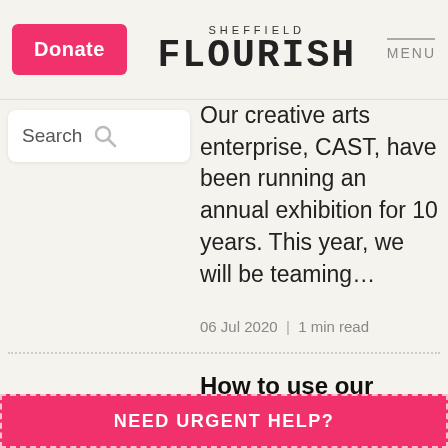Sheffield FLOURISH | MENU
[Figure (screenshot): Search bar with magnifying glass icon]
Our creative arts enterprise, CAST, have been running an annual exhibition for 10 years. This year, we will be teaming…
06 Jul 2020 | 1 min read
How to use our newest website: My Toolkit
A lot of us right now are
NEED URGENT HELP?